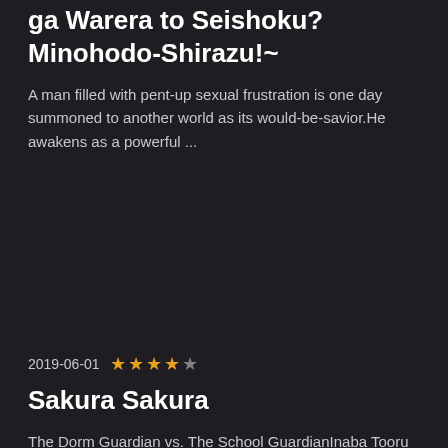ga Warera to Seishoku? Minohodo-Shirazu!~
A man filled with pent-up sexual frustration is one day summoned to another world as its would-be-savior.He awakens as a powerful ...
2019-06-01 ★★★★☆
Sakura Sakura
The Dorm Guardian vs. The School GuardianInaba Tooru has always dreamed of living a co-ed life. That&#x2019;s why, when he finally...